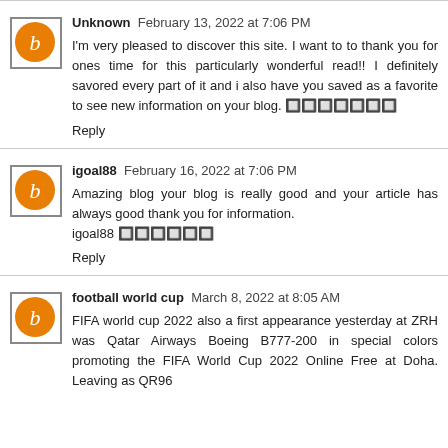Unknown  February 13, 2022 at 7:06 PM
I'm very pleased to discover this site. I want to to thank you for ones time for this particularly wonderful read!! I definitely savored every part of it and i also have you saved as a favorite to see new information on your blog. 🔲🔲🔲🔲🔲🔲🔲
Reply
igoal88  February 16, 2022 at 7:06 PM
Amazing blog your blog is really good and your article has always good thank you for information.
igoal88 🔲🔲🔲🔲🔲🔲
Reply
football world cup  March 8, 2022 at 8:05 AM
FIFA world cup 2022 also a first appearance yesterday at ZRH was Qatar Airways Boeing B777-200 in special colors promoting the FIFA World Cup 2022 Online Free at Doha. Leaving as QR96